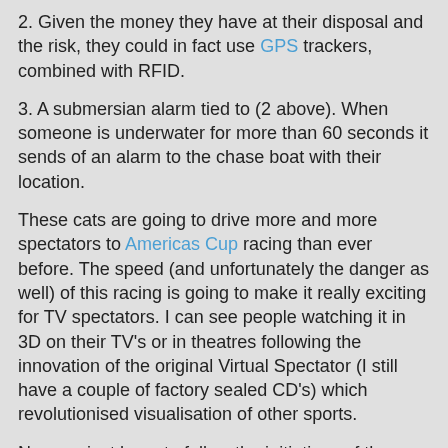2. Given the money they have at their disposal and the risk, they could in fact use GPS trackers, combined with RFID.
3. A submersian alarm tied to (2 above). When someone is underwater for more than 60 seconds it sends of an alarm to the chase boat with their location.
These cats are going to drive more and more spectators to Americas Cup racing than ever before. The speed (and unfortunately the danger as well) of this racing is going to make it really exciting for TV spectators. I can see people watching it in 3D on their TV's or in theatres following the innovation of the original Virtual Spectator (I still have a couple of factory sealed CD's) which revolutionised visualisation of other sports.
Now we just have to follow the initiatives of the motor racing industry and work to ensure when the inevitable does happen, that we can get people out alive as quickly as possible. We need to learn from this. We will learn from this and the tragic loss of Bart Simpson will have achieved some good.